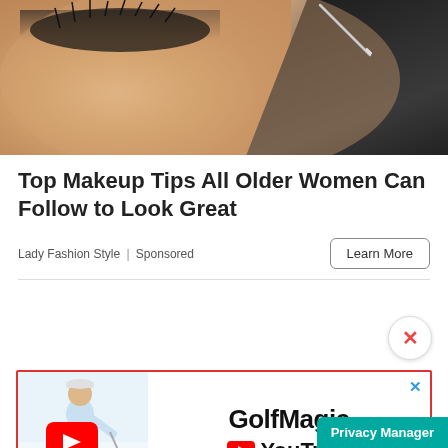[Figure (photo): Close-up photo of a person's face receiving a cosmetic procedure, with a gloved hand holding a tool near the eye area]
Top Makeup Tips All Older Women Can Follow to Look Great
Lady Fashion Style | Sponsored
[Figure (advertisement): GolfMagic YouTube advertisement banner with a golfer image, YouTube play button, GolfMagic logo text, and YouTube branding]
Privacy Manager